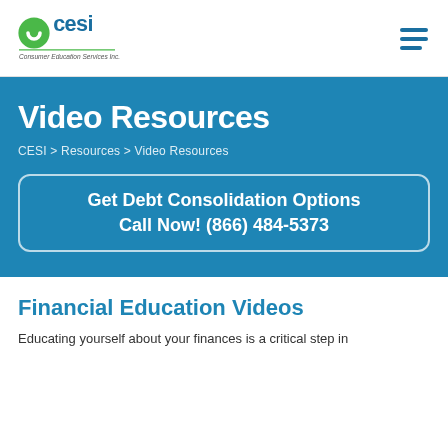[Figure (logo): CESI logo with green circle and blue text, tagline 'Consumer Education Services Inc.']
Video Resources
CESI > Resources > Video Resources
Get Debt Consolidation Options
Call Now! (866) 484-5373
Financial Education Videos
Educating yourself about your finances is a critical step in